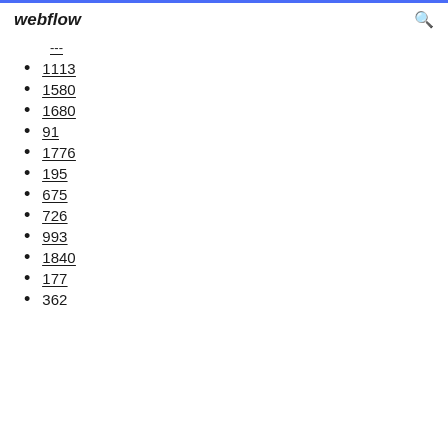webflow
---
1113
1580
1680
91
1776
195
675
726
993
1840
177
362